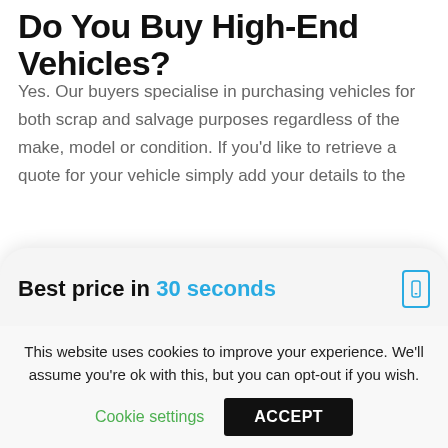Do You Buy High-End Vehicles?
Yes. Our buyers specialise in purchasing vehicles for both scrap and salvage purposes regardless of the make, model or condition. If you'd like to retrieve a quote for your vehicle simply add your details to the
Best price in 30 seconds
[Figure (screenshot): Vehicle registration plate input field with GB blue plate badge showing EU stars and 'GB' text, with placeholder text 'Enter your reg']
[Figure (screenshot): Second input field partially visible with blue badge showing a coin/pound icon]
This website uses cookies to improve your experience. We'll assume you're ok with this, but you can opt-out if you wish.
Cookie settings
ACCEPT